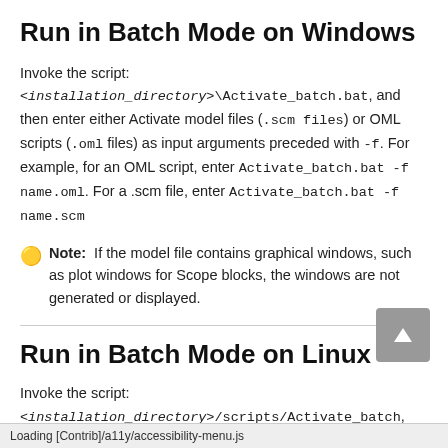Run in Batch Mode on Windows
Invoke the script: <installation_directory>\Activate_batch.bat, and then enter either Activate model files (.scm files) or OML scripts (.oml files) as input arguments preceded with -f. For example, for an OML script, enter Activate_batch.bat -f name.oml. For a .scm file, enter Activate_batch.bat -f name.scm
Note: If the model file contains graphical windows, such as plot windows for Scope blocks, the windows are not generated or displayed.
Run in Batch Mode on Linux
Invoke the script: <installation_directory>/scripts/Activate_batch, and then enter either Activate model files (.scm files) or OML
Loading [Contrib]/a11y/accessibility-menu.js